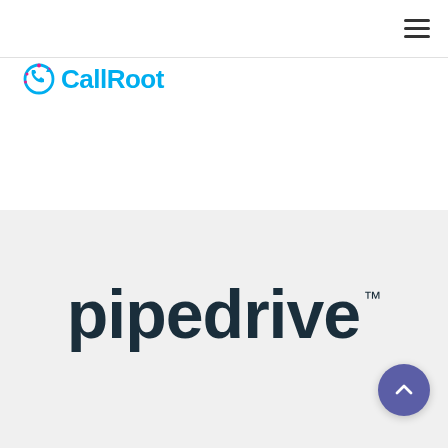[Figure (logo): CallRoot logo with circular icon in cyan/pink and text 'CallRoot' in cyan]
[Figure (logo): Pipedrive logo in dark navy/teal bold text with TM superscript, on light gray background]